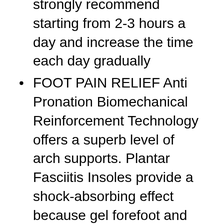strongly recommend starting from 2-3 hours a day and increase the time each day gradually
FOOT PAIN RELIEF Anti Pronation Biomechanical Reinforcement Technology offers a superb level of arch supports. Plantar Fasciitis Insoles provide a shock-absorbing effect because gel forefoot and air capsules enhance cushioning. Deep heel cradle with built-in heel support keeps foot bone vertical and balance to provide stability
PREMIUM QUALITY orthotics offer strong arch support made of hard TPU and cushioning layer with PU memory foam base. Heat and friction reducing velvety breathable cover provide a